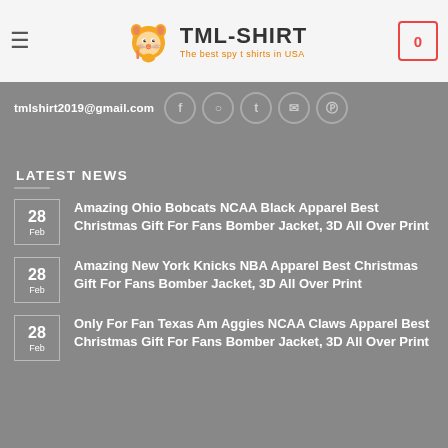TML-SHIRT — The best spy t shirts in USA
tmlshirt2019@gmail.com
LATEST NEWS
28 Feb — Amazing Ohio Bobcats NCAA Black Apparel Best Christmas Gift For Fans Bomber Jacket, 3D All Over Print
28 Feb — Amazing New York Knicks NBA Apparel Best Christmas Gift For Fans Bomber Jacket, 3D All Over Print
28 Feb — Only For Fan Texas Am Aggies NCAA Claws Apparel Best Christmas Gift For Fans Bomber Jacket, 3D All Over Print